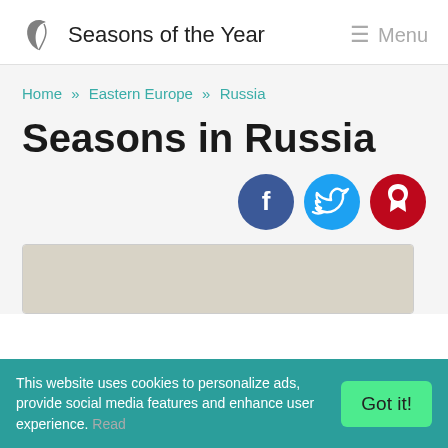Seasons of the Year  Menu
Home » Eastern Europe » Russia
Seasons in Russia
[Figure (other): Social media share buttons: Facebook, Twitter, Pinterest]
[Figure (photo): Image placeholder for Russia seasons content]
This website uses cookies to personalize ads, provide social media features and enhance user experience. Read